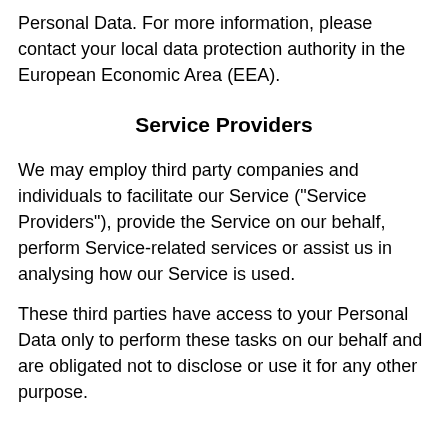Personal Data. For more information, please contact your local data protection authority in the European Economic Area (EEA).
Service Providers
We may employ third party companies and individuals to facilitate our Service ("Service Providers"), provide the Service on our behalf, perform Service-related services or assist us in analysing how our Service is used.
These third parties have access to your Personal Data only to perform these tasks on our behalf and are obligated not to disclose or use it for any other purpose.